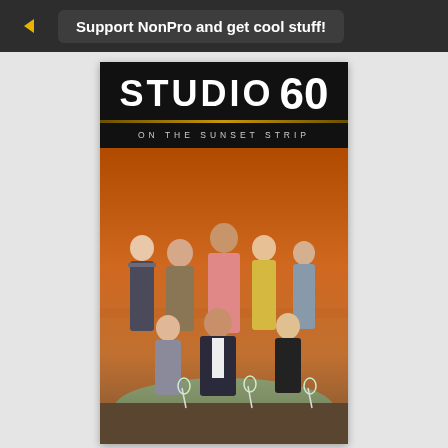Support NonPro and get cool stuff!
[Figure (photo): DVD cover art for 'Studio 60 on the Sunset Strip' showing the show title in bold white letters at top with '60' in large numerals, subtitle 'ON THE SUNSET STRIP' below, and a group photo of the cast sitting and standing together against an orange/sunset background.]
SNL Nerds – Episode 196 – Studio 60 on the Sunset Strip (2006) with guest Reenie Nayden!